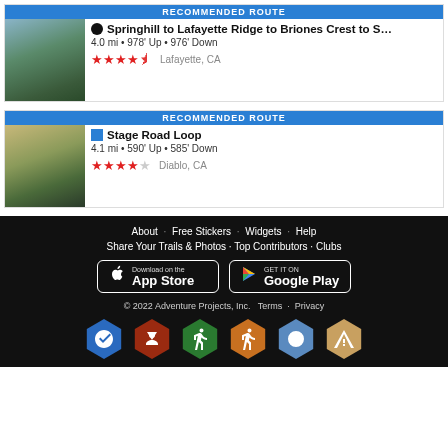RECOMMENDED ROUTE — Springhill to Lafayette Ridge to Briones Crest to S… — 4.0 mi • 978' Up • 976' Down — ★★★★½ Lafayette, CA
RECOMMENDED ROUTE — Stage Road Loop — 4.1 mi • 590' Up • 585' Down — ★★★★☆ Diablo, CA
About · Free Stickers · Widgets · Help · Share Your Trails & Photos · Top Contributors · Clubs · Download on the App Store · GET IT ON Google Play · © 2022 Adventure Projects, Inc. Terms · Privacy